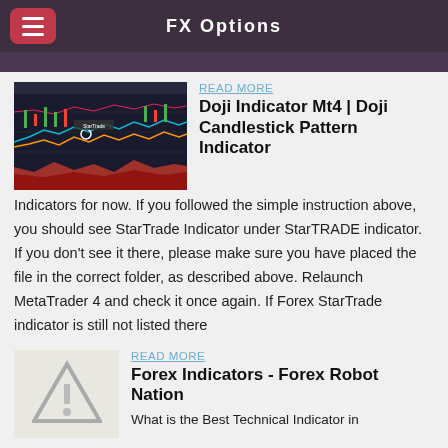FX Options
[Figure (screenshot): Screenshot of a trading chart with candlestick patterns and indicators on a dark background, showing colored lines and red/green areas]
READ MORE
Doji Indicator Mt4 | Doji Candlestick Pattern Indicator
Indicators for now. If you followed the simple instruction above, you should see StarTrade Indicator under StarTRADE indicator. If you don't see it there, please make sure you have placed the file in the correct folder, as described above. Relaunch MetaTrader 4 and check it once again. If Forex StarTrade indicator is still not listed there
READ MORE
Forex Indicators - Forex Robot Nation
[Figure (illustration): Warning triangle icon with exclamation mark, gray colored]
What is the Best Technical Indicator in